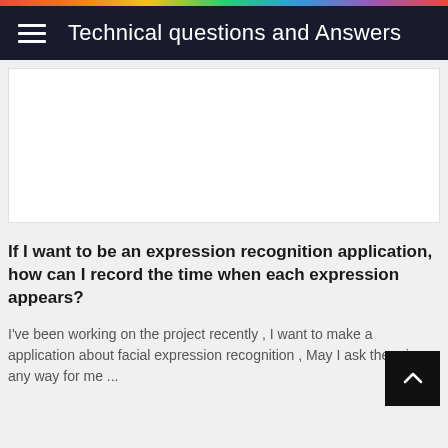Technical questions and Answers
[Figure (other): Advertisement/ad placeholder white box]
If I want to be an expression recognition application, how can I record the time when each expression appears?
I've been working on the project recently , I want to make a application about facial expression recognition , May I ask there is any way for me ...